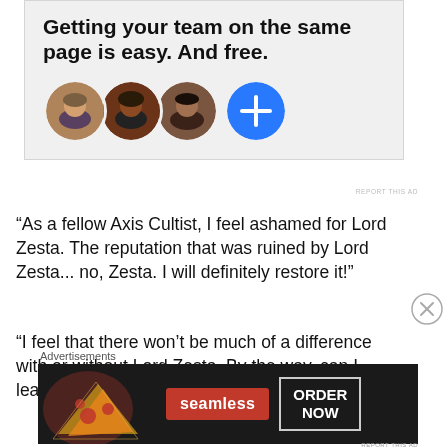[Figure (illustration): Advertisement banner with bold headline 'Getting your team on the same page is easy. And free.' with three circular avatar photos and a blue plus button on a grey background.]
“As a fellow Axis Cultist, I feel ashamed for Lord Zesta. The reputation that was ruined by Lord Zesta... no, Zesta. I will definitely restore it!”
“I feel that there won’t be much of a difference with or without Lord Zesta. By the way, can I leave now? I need to water the rice fields...”
Advertisements
[Figure (illustration): Seamless food delivery advertisement with pizza image, red Seamless badge, and ORDER NOW button on dark background.]